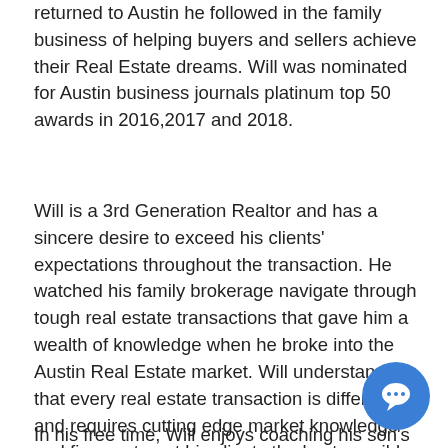returned to Austin he followed in the family business of helping buyers and sellers achieve their Real Estate dreams. Will was nominated for Austin business journals platinum top 50 awards in 2016,2017 and 2018.
Will is a 3rd Generation Realtor and has a sincere desire to exceed his clients' expectations throughout the transaction. He watched his family brokerage navigate through tough real estate transactions that gave him a wealth of knowledge when he broke into the Austin Real Estate market. Will understands that every real estate transaction is different and requires cutting edge market knowledge and finesse to get his clients the best possible deal.
In his free time, Will enjoys coaching his son's baseball